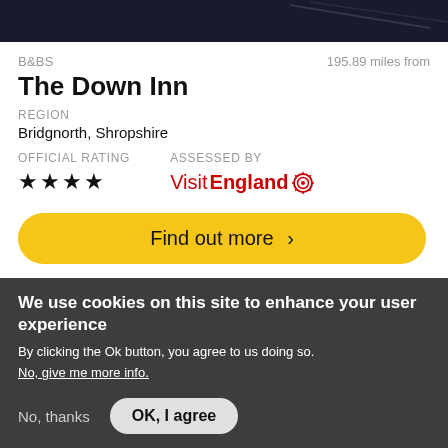[Figure (photo): Dark background image at top of card, appears to be a hotel/inn exterior photo]
B&BS	195.89 miles from
The Down Inn
REGION
Bridgnorth, Shropshire
OFFICIAL RATING	ASSESSED BY
★★★★	VisitEngland
Find out more ›
We use cookies on this site to enhance your user experience
By clicking the Ok button, you agree to us doing so.
No, give me more info.
No, thanks	OK, I agree